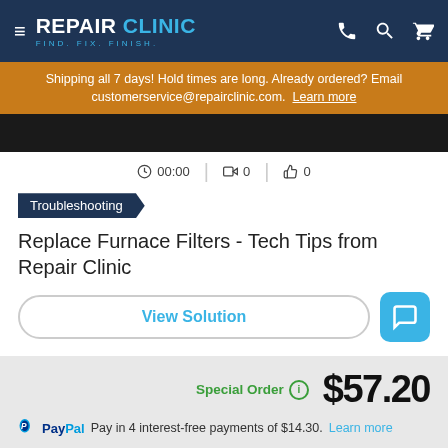REPAIR CLINIC - FIND. FIX. FINISH.
Shipping all 7 days! Hold times are long. Already ordered? Email customerservice@repairclinic.com. Learn more
[Figure (screenshot): Video thumbnail with 00:00 timestamp, 0 videos, 0 likes]
Troubleshooting
Replace Furnace Filters - Tech Tips from Repair Clinic
View Solution
Special Order  $57.20
PayPal Pay in 4 interest-free payments of $14.30. Learn more
1  ADD TO CART